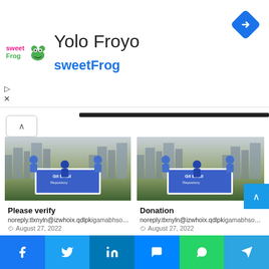[Figure (logo): sweetFrog logo - colorful frog brand mark]
Yolo Froyo
sweetFrog
[Figure (logo): Google Maps navigation turn right diamond icon]
[Figure (illustration): Animated illustration of people working on laptops with city skyline background - Please verify email card]
Please verify
noreply.tlxnyln@izwhoix.qdlpkigamabhsomgift02@gmail.com
August 27, 2022
[Figure (illustration): Animated illustration of people working on laptops with city skyline background - Donation email card]
Donation
noreply.tlxnyln@izwhoix.qdlpkigamabhsomgift02@gmail.com
August 27, 2022
[Figure (photo): Gray placeholder image card 1]
[Figure (photo): Gray placeholder image card 2]